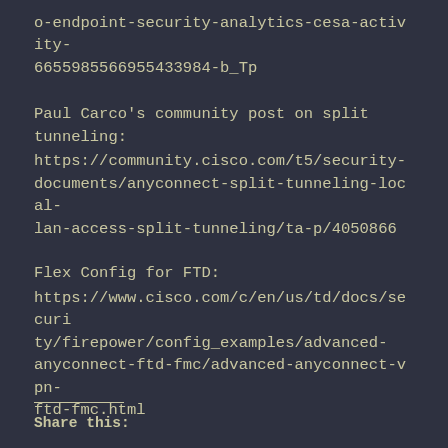o-endpoint-security-analytics-cesa-activity-6655985566955433984-b_Tp
Paul Carco's community post on split tunneling:
https://community.cisco.com/t5/security-documents/anyconnect-split-tunneling-local-lan-access-split-tunneling/ta-p/4050866
Flex Config for FTD:
https://www.cisco.com/c/en/us/td/docs/security/firepower/config_examples/advanced-anyconnect-ftd-fmc/advanced-anyconnect-vpn-ftd-fmc.html
Share this: